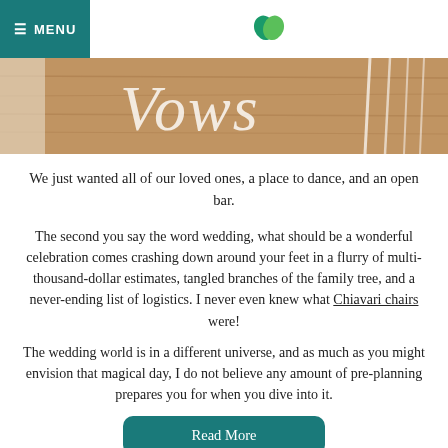≡ MENU
[Figure (photo): Partial view of a wooden sign with white cursive lettering (partially visible text 'Vows' or similar) with white Chiavari chairs in background]
We just wanted all of our loved ones, a place to dance, and an open bar.
The second you say the word wedding, what should be a wonderful celebration comes crashing down around your feet in a flurry of multi-thousand-dollar estimates, tangled branches of the family tree, and a never-ending list of logistics. I never even knew what Chiavari chairs were!
The wedding world is in a different universe, and as much as you might envision that magical day, I do not believe any amount of pre-planning prepares you for when you dive into it.
Read More